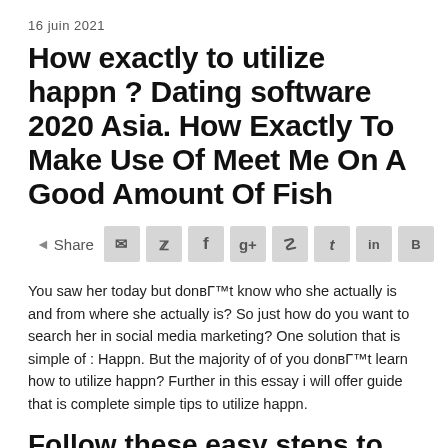16 juin 2021
How exactly to utilize happn ? Dating software 2020 Asia. How Exactly To Make Use Of Meet Me On A Good Amount Of Fish
[Figure (other): Social share bar with email, Twitter, Facebook, Google+, Pinterest, Tumblr, LinkedIn, and VK share buttons]
You saw her today but donвЂ™t know who she actually is and from where she actually is? So just how do you want to search her in social media marketing? One solution that is simple of : Happn. But the majority of of you donвЂ™t learn how to utilize happn? Further in this essay i will offer guide that is complete simple tips to utilize happn.
Follow these easy steps to understand with who you have actually crossed the